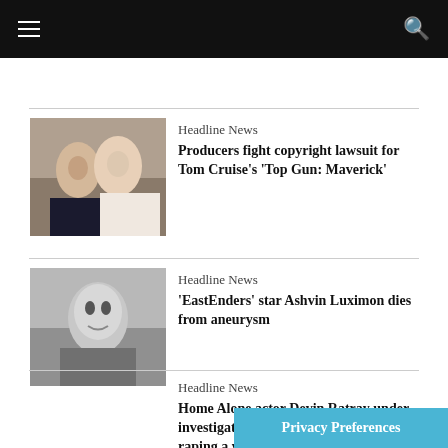Headline News
Producers fight copyright lawsuit for Tom Cruise's 'Top Gun: Maverick'
Headline News
'EastEnders' star Ashvin Luximon dies from aneurysm
Headline News
Home Alone actor Devin Ratray under investigation for allegedly drugging and raping a woman in...
Privacy Preferences